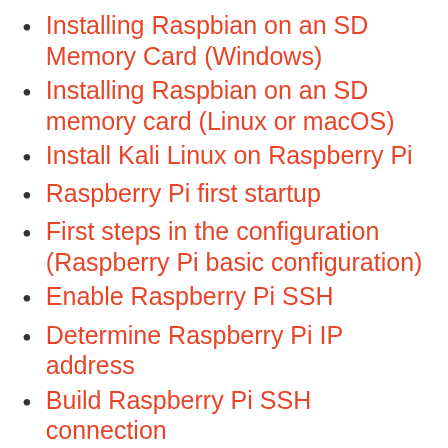Installing Raspbian on an SD Memory Card (Windows)
Installing Raspbian on an SD memory card (Linux or macOS)
Install Kali Linux on Raspberry Pi
Raspberry Pi first startup
First steps in the configuration (Raspberry Pi basic configuration)
Enable Raspberry Pi SSH
Determine Raspberry Pi IP address
Build Raspberry Pi SSH connection
Update Raspberry Pi operating system and software
Automatically download and install